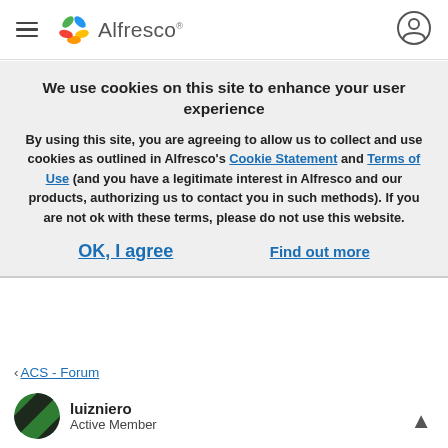Alfresco
We use cookies on this site to enhance your user experience
By using this site, you are agreeing to allow us to collect and use cookies as outlined in Alfresco's Cookie Statement and Terms of Use (and you have a legitimate interest in Alfresco and our products, authorizing us to contact you in such methods).   If you are not ok with these terms, please do not use this website.
OK, I agree    Find out more
‹ ACS - Forum
luizniero
Active Member
13 Jun 2019 3:13 PM